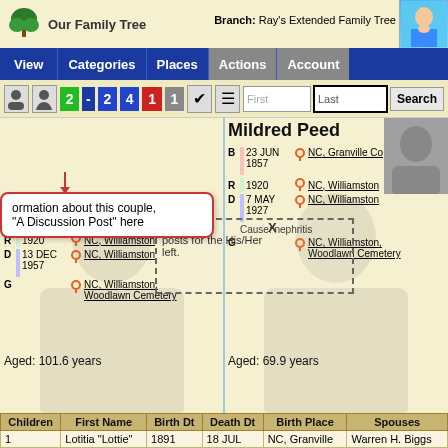Our Family Tree | Branch: Ray's Extended Family Tree
[Figure (screenshot): Navigation bar with View, Categories, Places, Actions, Account buttons on blue background]
[Figure (screenshot): Toolbar with person icons, numbered badges 2-2 4 1 1, checkmark, filter icon, First/Last search inputs and Search button]
ormation about this couple, "A Discussion Post" here
posts for the His/Her left.
Mildred Peed
B 23 MAY 1856 | NC, Granville Co...
R 1920 | NC, Williamston
D 13 DEC 1957 | NC, Williamston
G | NC, Williamston, Woodlawn Cemetery
Aged: 101.6 years
B 23 JUN 1857 | NC, Granville Co
R 1920 | NC, Williamston
D 7 MAY 1927 | NC, Williamston
Cause: nephritis
G | NC, Williamston, Woodlawn Cemetery
Aged: 69.9 years
| Children | First Name | Birth Dt | Death Dt | Birth Place | Spouses |
| --- | --- | --- | --- | --- | --- |
| 1 | Lotitia "Lottie" | 1891 | 18 JUL | NC, Granville | Warren H. Biggs |